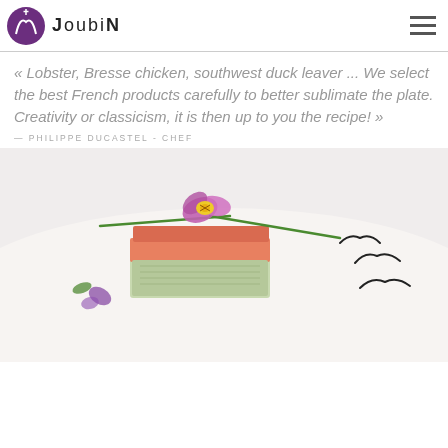Joubin
« Lobster, Bresse chicken, southwest duck leaver ... We select the best French products carefully to better sublimate the plate. Creativity or classicism, it is then up to you the recipe! »
— PHILIPPE DUCASTEL - CHEF
[Figure (photo): A plated dish showing a layered seafood (lobster) terrine topped with a purple flower and green chive stems, on a white plate with black decorative elements.]